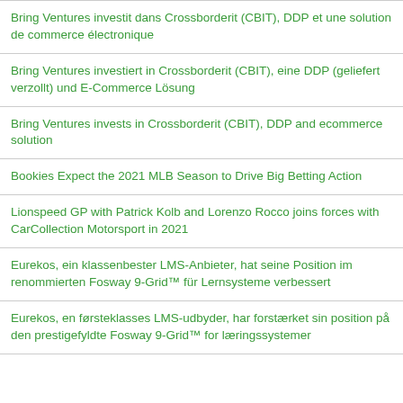Bring Ventures investit dans Crossborderit (CBIT), DDP et une solution de commerce électronique
Bring Ventures investiert in Crossborderit (CBIT), eine DDP (geliefert verzollt) und E-Commerce Lösung
Bring Ventures invests in Crossborderit (CBIT), DDP and ecommerce solution
Bookies Expect the 2021 MLB Season to Drive Big Betting Action
Lionspeed GP with Patrick Kolb and Lorenzo Rocco joins forces with CarCollection Motorsport in 2021
Eurekos, ein klassenbester LMS-Anbieter, hat seine Position im renommierten Fosway 9-Grid™ für Lernsysteme verbessert
Eurekos, en førsteklasses LMS-udbyder, har forstærket sin position på den prestigefyldte Fosway 9-Grid™ for læringssystemer